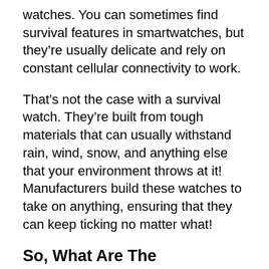watches. You can sometimes find survival features in smartwatches, but they're usually delicate and rely on constant cellular connectivity to work.
That's not the case with a survival watch. They're built from tough materials that can usually withstand rain, wind, snow, and anything else that your environment throws at it! Manufacturers build these watches to take on anything, ensuring that they can keep ticking no matter what!
So, What Are The Advantages Of Using A Survival Watch?